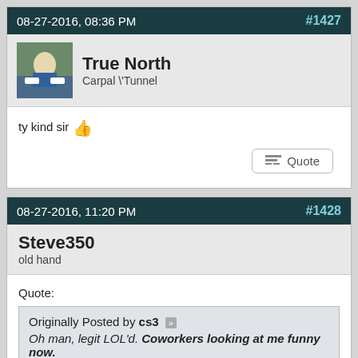08-27-2016, 08:36 PM    #1427
True North
Carpal \'Tunnel
ty kind sir 👍
08-27-2016, 11:20 PM    #1428
Steve350
old hand
Quote:
Originally Posted by cs3
Oh man, legit LOL'd. Coworkers looking at me funny now.
And it ain't the first time either!